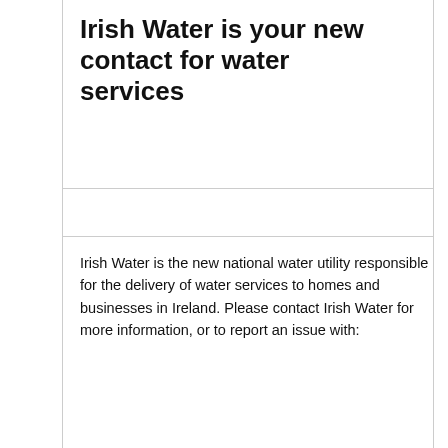Irish Water is your new contact for water services
Irish Water is the new national water utility responsible for the delivery of water services to homes and businesses in Ireland. Please contact Irish Water for more information, or to report an issue with:
Water supply
Water quality
Wastewater
The contact details for Irish Water are:
Web: www.water.ie